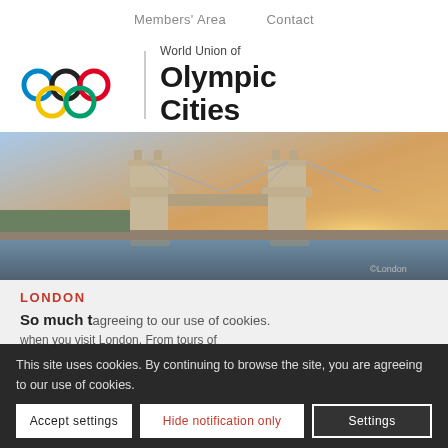Members' Area   Contact
[Figure (logo): World Union of Olympic Cities logo with Olympic rings and text]
[Figure (photo): Tower Bridge in London at sunset with river Thames in the foreground]
LONDON
So much to...
when you visit London. From tours of
This site uses cookies. By continuing to browse the site, you are agreeing to our use of cookies.